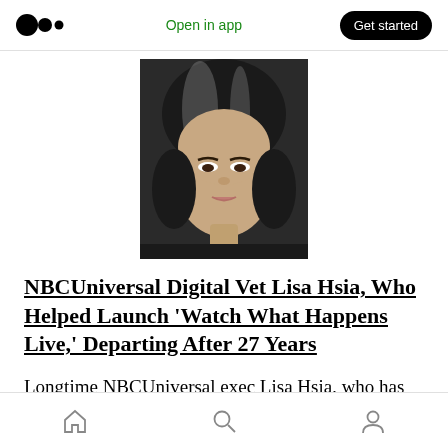Open in app | Get started
[Figure (photo): Headshot of Lisa Hsia, a woman with gray-streaked dark hair, against a dark background]
NBCUniversal Digital Vet Lisa Hsia, Who Helped Launch ‘Watch What Happens Live,’ Departing After 27 Years
Longtime NBCUniversal exec Lisa Hsia, who has worked in a wide variety of roles through the years at the company, is exiting after 27 years.
Home | Search | Profile